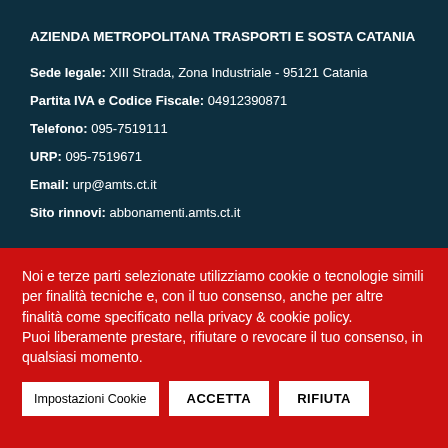AZIENDA METROPOLITANA TRASPORTI E SOSTA CATANIA
Sede legale: XIII Strada, Zona Industriale - 95121 Catania
Partita IVA e Codice Fiscale: 04912390871
Telefono: 095-7519111
URP: 095-7519671
Email: urp@amts.ct.it
Sito rinnovi: abbonamenti.amts.ct.it
Noi e terze parti selezionate utilizziamo cookie o tecnologie simili per finalità tecniche e, con il tuo consenso, anche per altre finalità come specificato nella privacy & cookie policy.
Puoi liberamente prestare, rifiutare o revocare il tuo consenso, in qualsiasi momento.
Impostazioni Cookie
ACCETTA
RIFIUTA